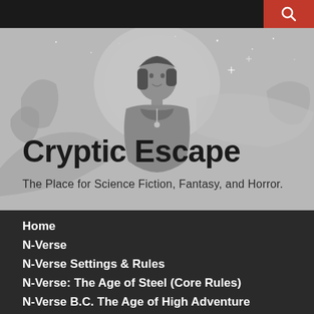[Figure (illustration): Grayscale fantasy illustration of a female warrior/sorceress figure with short dark hair, wearing a cape and fantasy costume, set against a starry night sky background. Large decorative hat/halo element behind her head.]
Cryptic Escape
The Place for Science Fiction, Fantasy, and Horror.
Home
N-Verse
N-Verse Settings & Rules
N-Verse: The Age of Steel (Core Rules)
N-Verse B.C. The Age of High Adventure
N-Verse: The Age of Legends
N-Verse: The Age of Valor
N-Verse: The Age of Honor